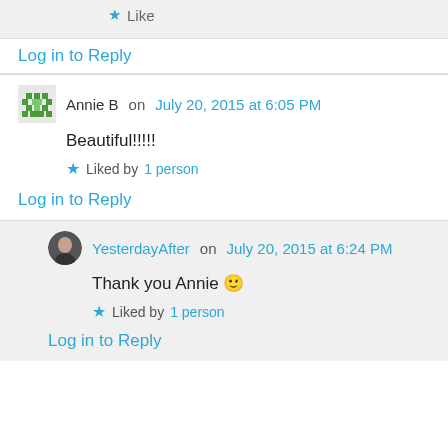Like
Log in to Reply
Annie B on July 20, 2015 at 6:05 PM
Beautiful!!!!!
Liked by 1 person
Log in to Reply
YesterdayAfter on July 20, 2015 at 6:24 PM
Thank you Annie 🙂
Liked by 1 person
Log in to Reply